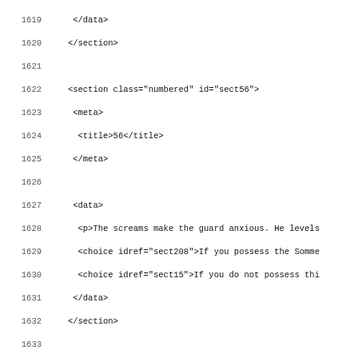Code listing showing XML source lines 1619-1651 with line numbers, including section elements with numbered class, meta/title tags, data paragraphs, choice elements, and illustration elements with meta, creator, and instance child elements.